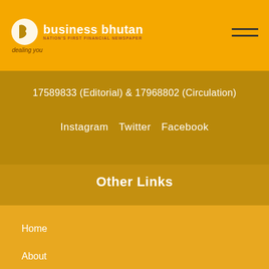[Figure (logo): Business Bhutan newspaper logo with circular icon, tagline 'dealing you', and subtitle 'NATION'S FIRST FINANCIAL NEWSPAPER']
17589833 (Editorial) & 17968802 (Circulation)
Instagram  Twitter  Facebook
Other Links
Home
About
National News